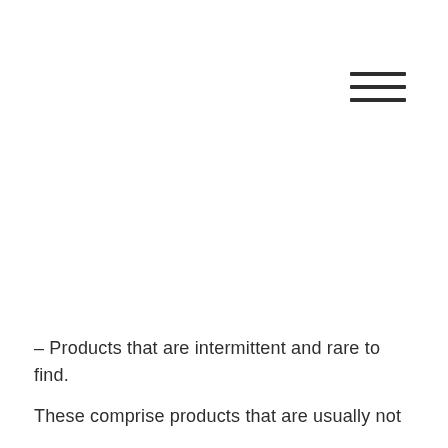[Figure (other): Hamburger menu icon consisting of three horizontal parallel lines in the upper right corner]
– Products that are intermittent and rare to find.
These comprise products that are usually not